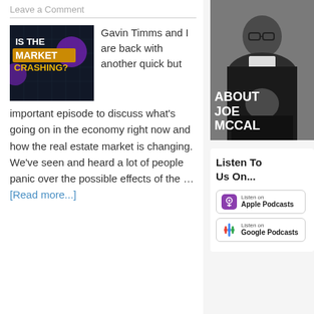Leave a Comment
[Figure (photo): Thumbnail image with dark background reading 'IS THE MARKET CRASHING?' in bold yellow and white text]
Gavin Timms and I are back with another quick but important episode to discuss what's going on in the economy right now and how the real estate market is changing. We've seen and heard a lot of people panic over the possible effects of the … [Read more...]
[Figure (photo): Photo of Joe McCall with overlay text reading 'ABOUT JOE MCCALL']
Listen To Us On...
[Figure (logo): Listen on Apple Podcasts button]
[Figure (logo): Listen on Google Podcasts button]